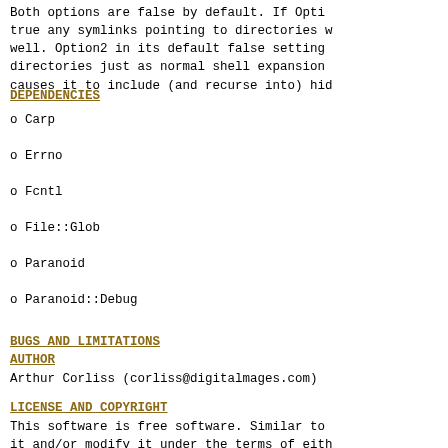Both options are false by default.  If Opti true any symlinks pointing to directories w well.  Option2 in its default false setting directories just as normal shell expansion causes it to include (and recurse into) hid
DEPENDENCIES
o   Carp
o   Errno
o   Fcntl
o   File::Glob
o   Paranoid
o   Paranoid::Debug
BUGS AND LIMITATIONS
AUTHOR
Arthur Corliss (corliss@digitalmages.com)
LICENSE AND COPYRIGHT
This software is free software.  Similar to it and/or modify it under the terms of eith